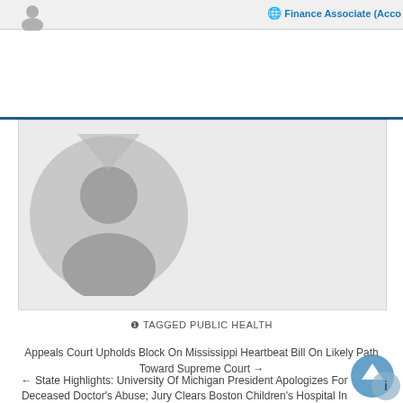[Figure (screenshot): Top bar with small avatar icon and Finance Associate link partially visible]
Finance Associate (Acco...
[Figure (illustration): Large default user avatar placeholder (grey silhouette on grey background) inside a card]
❶ TAGGED PUBLIC HEALTH
Appeals Court Upholds Block On Mississippi Heartbeat Bill On Likely Path Toward Supreme Court →
← State Highlights: University Of Michigan President Apologizes For Deceased Doctor's Abuse; Jury Clears Boston Children's Hospital In Controversial Case